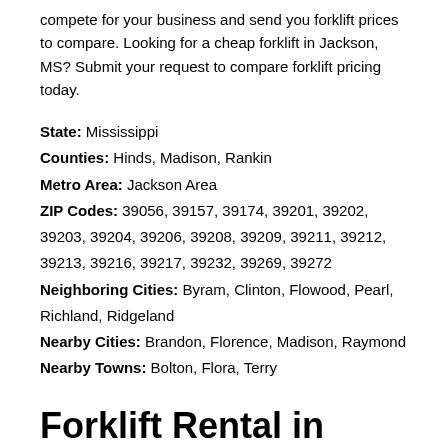compete for your business and send you forklift prices to compare. Looking for a cheap forklift in Jackson, MS? Submit your request to compare forklift pricing today.
State: Mississippi
Counties: Hinds, Madison, Rankin
Metro Area: Jackson Area
ZIP Codes: 39056, 39157, 39174, 39201, 39202, 39203, 39204, 39206, 39208, 39209, 39211, 39212, 39213, 39216, 39217, 39232, 39269, 39272
Neighboring Cities: Byram, Clinton, Flowood, Pearl, Richland, Ridgeland
Nearby Cities: Brandon, Florence, Madison, Raymond
Nearby Towns: Bolton, Flora, Terry
Forklift Rental in Jackson, MS
Do you need to rent a forklift in Jackson, MS? Would you